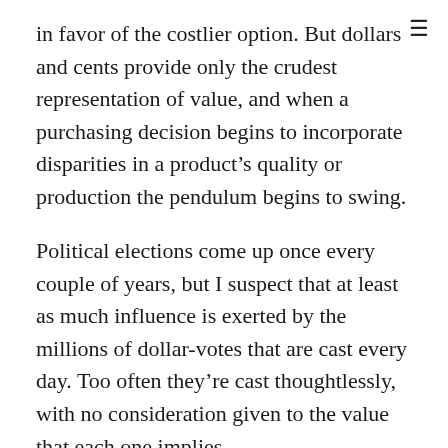in favor of the costlier option. But dollars and cents provide only the crudest representation of value, and when a purchasing decision begins to incorporate disparities in a product’s quality or production the pendulum begins to swing.
Political elections come up once every couple of years, but I suspect that at least as much influence is exerted by the millions of dollar-votes that are cast every day. Too often they’re cast thoughtlessly, with no consideration given to the value that each one implies.
And so, on this most sacred of consumer holidays, do us all a favor. Buy into what you value. And never overlook the value of what you buy.